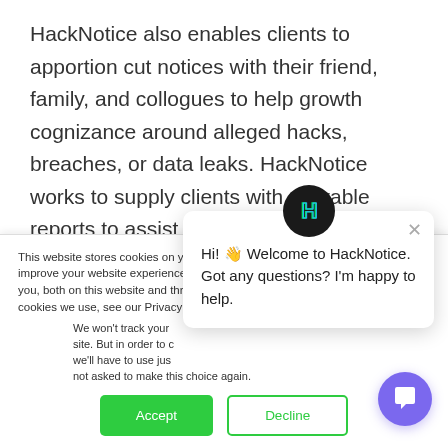HackNotice also enables clients to apportion cut notices with their friend, family, and collogues to help growth cognizance around alleged hacks, breaches, or data leaks. HackNotice works to supply clients with sharable reports to assist increase the certificate of our clients personal network. The security of the people that our clients interact with directly impacts
This website stores cookies on your computer. These are used to improve your website experience you, both on this website and through cookies we use, see our Privacy P
We won't track your site. But in order to c we'll have to use jus not asked to make this choice again.
[Figure (screenshot): Chat popup with HackNotice logo at top, close X button, and message: Hi! Welcome to HackNotice. Got any questions? I'm happy to help.]
Hi! 👋 Welcome to HackNotice. Got any questions? I'm happy to help.
[Figure (screenshot): Accept and Decline cookie consent buttons]
[Figure (screenshot): Purple circular chat trigger button at bottom right]